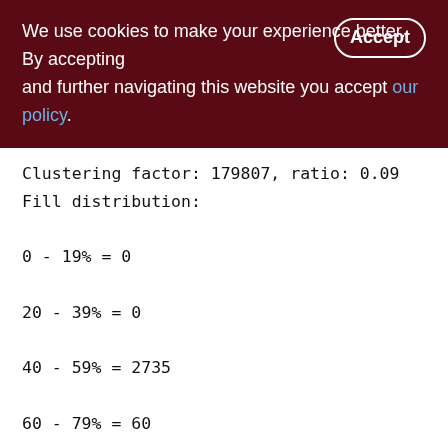We use cookies to make your experience better. By accepting and further navigating this website you accept our policy.
Clustering factor: 179807, ratio: 0.09
Fill distribution:
0 - 19% = 0
20 - 39% = 0
40 - 59% = 2735
60 - 79% = 60
80 - 99% = 0
Index PERF_LOG_UNIT (1)
Root page: 53385, depth: 3, leaf buckets: 2170, nodes: 1956631
Average node length: 5.12, total dup: